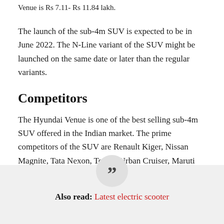Venue is Rs 7.11- Rs 11.84 lakh.
The launch of the sub-4m SUV is expected to be in June 2022. The N-Line variant of the SUV might be launched on the same date or later than the regular variants.
Competitors
The Hyundai Venue is one of the best selling sub-4m SUV offered in the Indian market. The prime competitors of the SUV are Renault Kiger, Nissan Magnite, Tata Nexon, Toyota Urban Cruiser, Maruti Suzuki Vitara Brezza, Mahindra XUV300 etc.
Also read: Latest electric scooter